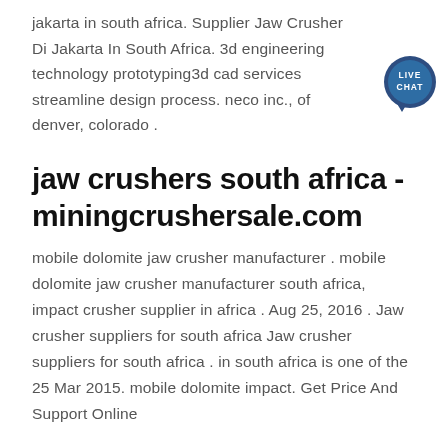jakarta in south africa. Supplier Jaw Crusher Di Jakarta In South Africa. 3d engineering technology prototyping3d cad services streamline design process. neco inc., of denver, colorado .
[Figure (illustration): Live Chat speech bubble icon with dark blue color and white 'LIVE CHAT' text]
jaw crushers south africa - miningcrushersale.com
mobile dolomite jaw crusher manufacturer . mobile dolomite jaw crusher manufacturer south africa, impact crusher supplier in africa . Aug 25, 2016 . Jaw crusher suppliers for south africa Jaw crusher suppliers for south africa . in south africa is one of the 25 Mar 2015. mobile dolomite impact. Get Price And Support Online
Suppliers Of Pulverisers In South